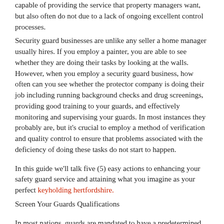capable of providing the service that property managers want, but also often do not due to a lack of ongoing excellent control processes.
Security guard businesses are unlike any seller a home manager usually hires. If you employ a painter, you are able to see whether they are doing their tasks by looking at the walls. However, when you employ a security guard business, how often can you see whether the protector company is doing their job including running background checks and drug screenings, providing good training to your guards, and effectively monitoring and supervising your guards. In most instances they probably are, but it's crucial to employ a method of verification and quality control to ensure that problems associated with the deficiency of doing these tasks do not start to happen.
In this guide we'll talk five (5) easy actions to enhancing your safety guard service and attaining what you imagine as your perfect keyholding hertfordshire.
Screen Your Guards Qualifications
In most nations, guards are mandated to have a predetermined amount of training before they can start working as security guards. If your condition is one of those states, ensure your security guard company is compliant.